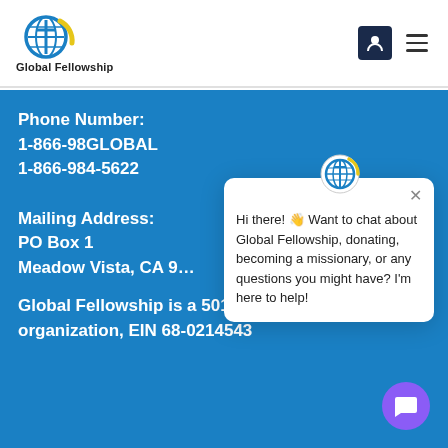[Figure (logo): Global Fellowship logo — blue and yellow globe with cross, text 'Global Fellowship' below]
Phone Number:
1-866-98GLOBAL
1-866-984-5622

Mailing Address:
PO Box 1
Meadow Vista, CA 9…
[Figure (screenshot): Chat popup widget: Global Fellowship logo icon, close X, message 'Hi there! 👋 Want to chat about Global Fellowship, donating, becoming a missionary, or any questions you might have? I'm here to help!']
Global Fellowship is a 501c3 non-profit organization, EIN 68-0214543